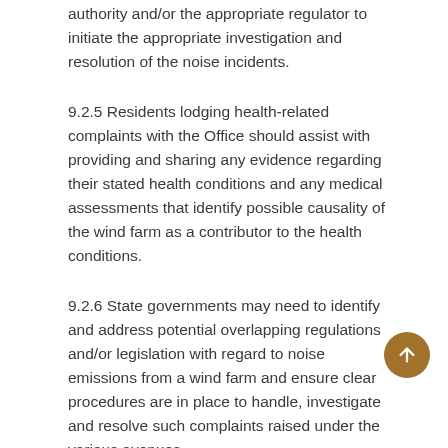authority and/or the appropriate regulator to initiate the appropriate investigation and resolution of the noise incidents.
9.2.5 Residents lodging health-related complaints with the Office should assist with providing and sharing any evidence regarding their stated health conditions and any medical assessments that identify possible causality of the wind farm as a contributor to the health conditions.
9.2.6 State governments may need to identify and address potential overlapping regulations and/or legislation with regard to noise emissions from a wind farm and ensure clear procedures are in place to handle, investigate and resolve such complaints raised under the various avenues.